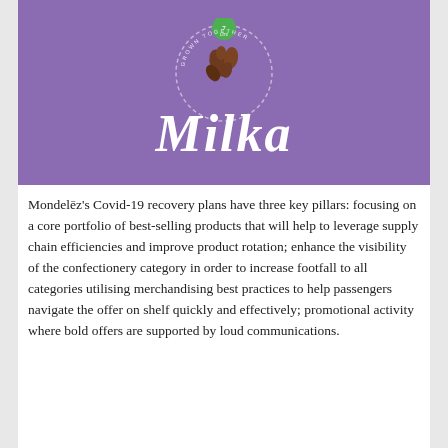[Figure (photo): Milka chocolate brand image on purple background with cocoa beans and circular Milka logo text]
Mondelēz's Covid-19 recovery plans have three key pillars: focusing on a core portfolio of best-selling products that will help to leverage supply chain efficiencies and improve product rotation; enhance the visibility of the confectionery category in order to increase footfall to all categories utilising merchandising best practices to help passengers navigate the offer on shelf quickly and effectively; promotional activity where bold offers are supported by loud communications.